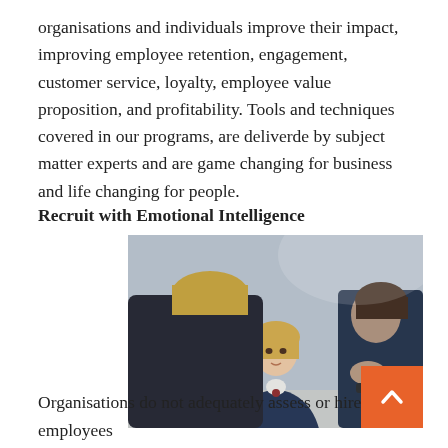organisations and individuals improve their impact, improving employee retention, engagement, customer service, loyalty, employee value proposition, and profitability. Tools and techniques covered in our programs, are deliverde by subject matter experts and are game changing for business and life changing for people.
Recruit with Emotional Intelligence
[Figure (photo): A professional job interview scene showing three people seated at a table. A blonde woman in the center faces the camera, appearing to be the interviewee. Two other people are partially visible on either side.]
Organisations do not adequately assess or hire employees